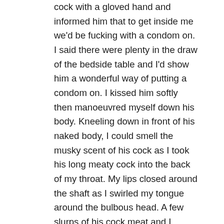cock with a gloved hand and informed him that to get inside me we'd be fucking with a condom on. I said there were plenty in the draw of the bedside table and I'd show him a wonderful way of putting a condom on. I kissed him softly then manoeuvred myself down his body. Kneeling down in front of his naked body, I could smell the musky scent of his cock as I took his long meaty cock into the back of my throat. My lips closed around the shaft as I swirled my tongue around the bulbous head. A few slurps of his cock meat and I needed to feel his shaft inside me, plus the way it was twitching I didn't think this fuck was going to last too long, what with me dressed as I was and talking and acting in this manner, his cock would be erupting soon enough. Removing his cock from my lips I began standing up. Rubbing my wet look covered tits into his chest I gave him a nice cock salty kiss and lead him into the bedroom, holding his hard cock like a relay runner. He lay on the bed as I made my way on the mattress positioning myself between his legs. My legs wide open,